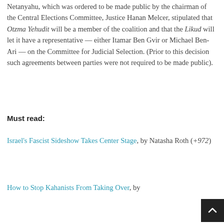Netanyahu, which was ordered to be made public by the chairman of the Central Elections Committee, Justice Hanan Melcer, stipulated that Otzma Yehudit will be a member of the coalition and that the Likud will let it have a representative — either Itamar Ben Gvir or Michael Ben-Ari — on the Committee for Judicial Selection. (Prior to this decision such agreements between parties were not required to be made public).
Must read:
Israel's Fascist Sideshow Takes Center Stage, by Natasha Roth (+972)
How to Stop Kahanists From Taking Over, by